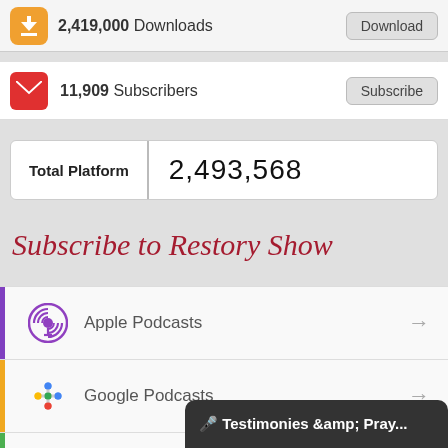2,419,000 Downloads
11,909 Subscribers
Total Platform  2,493,568
Subscribe to Restory Show
Apple Podcasts
Google Podcasts
Android
by Email
🎤 Testimonies &amp; Pray...